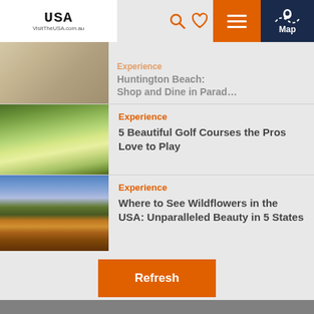[Figure (screenshot): VisitTheUSA.com.au website header with logo, search icon, heart/favorites icon, hamburger menu (orange), and Map button (dark navy)]
Experience
Huntington Beach: Shop and Dine in Parad...
[Figure (photo): Golf course at sunrise/sunset with misty water and silhouetted trees]
Experience
5 Beautiful Golf Courses the Pros Love to Play
[Figure (photo): Cracked desert earth with wildflowers and dramatic cloudy sky]
Experience
Where to See Wildflowers in the USA: Unparalleled Beauty in 5 States
Refresh